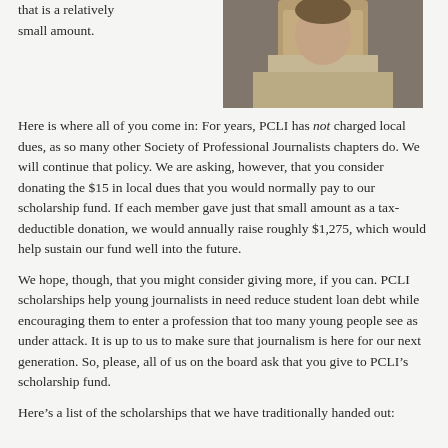that is a relatively small amount.
[Figure (photo): A man in a light-colored shirt with a dark tie, arms folded on a table, looking down.]
Here is where all of you come in: For years, PCLI has not charged local dues, as so many other Society of Professional Journalists chapters do. We will continue that policy. We are asking, however, that you consider donating the $15 in local dues that you would normally pay to our scholarship fund. If each member gave just that small amount as a tax-deductible donation, we would annually raise roughly $1,275, which would help sustain our fund well into the future.
We hope, though, that you might consider giving more, if you can. PCLI scholarships help young journalists in need reduce student loan debt while encouraging them to enter a profession that too many young people see as under attack. It is up to us to make sure that journalism is here for our next generation. So, please, all of us on the board ask that you give to PCLI’s scholarship fund.
Here’s a list of the scholarships that we have traditionally handed out: